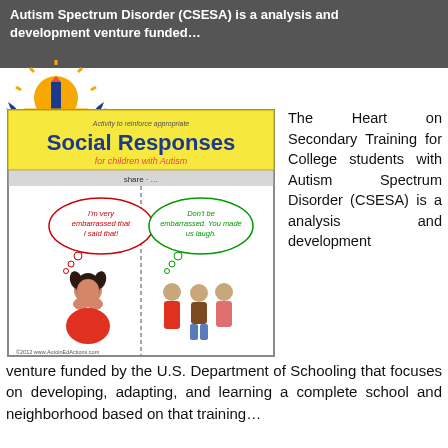Autism Spectrum Disorder (CSESA) is a analysis and development venture funded...
[Figure (logo): Organization logo with sun and bird/wing design in blue and yellow]
[Figure (illustration): Book cover: Social Responses for children with Autism - showing a young girl looking embarrassed and three children laughing with thought bubbles]
The Heart on Secondary Training for College students with Autism Spectrum Disorder (CSESA) is a analysis and development venture funded by the U.S. Department of Schooling that focuses on developing, adapting, and learning a complete school and neighborhood based on that training...